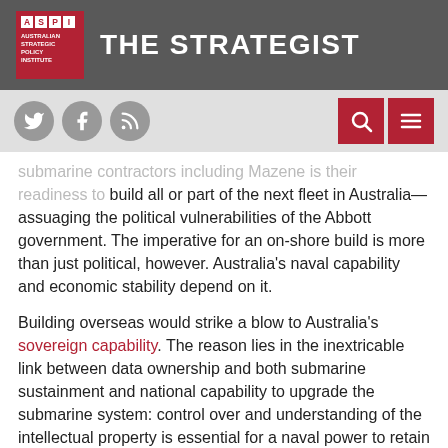THE STRATEGIST — Australian Strategic Policy Institute
submarine contractors including Mazene is their readiness to build all or part of the next fleet in Australia—assuaging the political vulnerabilities of the Abbott government. The imperative for an on-shore build is more than just political, however. Australia's naval capability and economic stability depend on it.
Building overseas would strike a blow to Australia's sovereign capability. The reason lies in the inextricable link between data ownership and both submarine sustainment and national capability to upgrade the submarine system: control over and understanding of the intellectual property is essential for a naval power to retain capability.
While Germany's ThyssenKrupp Marine Systems (TKMS) and France's DCNS have pledged to share technology, Japan's